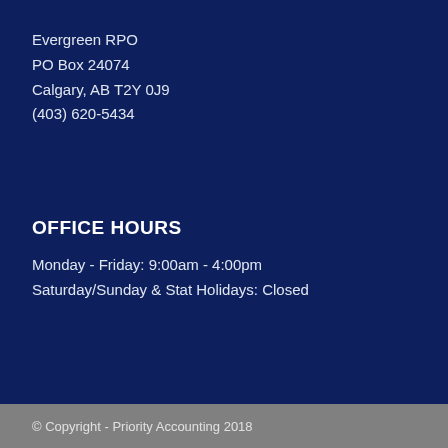Evergreen RPO
PO Box 24074
Calgary, AB T2Y 0J9
(403) 620-5434
OFFICE HOURS
Monday - Friday: 9:00am - 4:00pm
Saturday/Sunday & Stat Holidays: Closed
© Copyright - Priority Accounting 2018